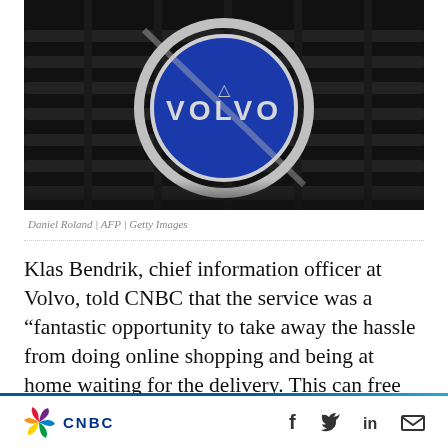[Figure (photo): Close-up photograph of a Volvo car badge/logo on a black grille. The circular silver Volvo emblem with a blue background showing 'VOLVO' text in silver letters is prominently displayed.]
Daniel Roland | AFP | Getty Images
Klas Bendrik, chief information officer at Volvo, told CNBC that the service was a “fantastic opportunity to take away the hassle from doing online shopping and being at home waiting for the delivery. This can free up time for people.”
CNBC [logo] | social icons: Facebook, Twitter, LinkedIn, Email